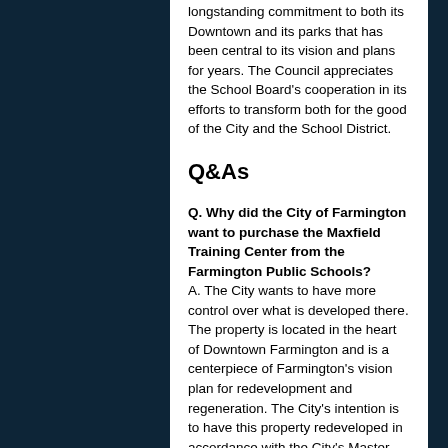longstanding commitment to both its Downtown and its parks that has been central to its vision and plans for years. The Council appreciates the School Board's cooperation in its efforts to transform both for the good of the City and the School District.
Q&As
Q. Why did the City of Farmington want to purchase the Maxfield Training Center from the Farmington Public Schools? A. The City wants to have more control over what is developed there. The property is located in the heart of Downtown Farmington and is a centerpiece of Farmington's vision plan for redevelopment and regeneration. The City's intention is to have this property redeveloped in accordance with the City's Master Plan.